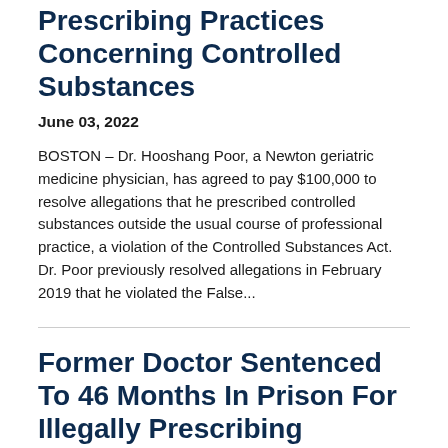Allegations of Improper Prescribing Practices Concerning Controlled Substances
June 03, 2022
BOSTON – Dr. Hooshang Poor, a Newton geriatric medicine physician, has agreed to pay $100,000 to resolve allegations that he prescribed controlled substances outside the usual course of professional practice, a violation of the Controlled Substances Act. Dr. Poor previously resolved allegations in February 2019 that he violated the False...
Former Doctor Sentenced To 46 Months In Prison For Illegally Prescribing